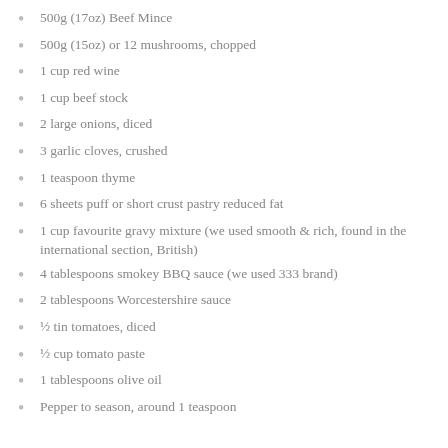500g (17oz) Beef Mince
500g (15oz) or 12 mushrooms, chopped
1 cup red wine
1 cup beef stock
2 large onions, diced
3 garlic cloves, crushed
1 teaspoon thyme
6 sheets puff or short crust pastry reduced fat
1 cup favourite gravy mixture (we used smooth & rich, found in the international section, British)
4 tablespoons smokey BBQ sauce (we used 333 brand)
2 tablespoons Worcestershire sauce
½ tin tomatoes, diced
½ cup tomato paste
1 tablespoons olive oil
Pepper to season, around 1 teaspoon